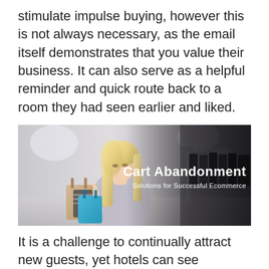stimulate impulse buying, however this is not always necessary, as the email itself demonstrates that you value their business. It can also serve as a helpful reminder and quick route back to a room they had seen earlier and liked.
[Figure (photo): A blonde woman holding shopping bags in a retail store, with text overlay reading 'Cart Abandonment Solutions for Successful Ecommerce']
It is a challenge to continually attract new guests, yet hotels can see immediate returns by engaging with site visitors known to have